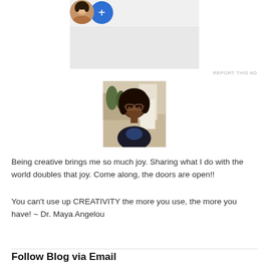[Figure (screenshot): Ad block with two avatar circles (one person photo, one blue plus circle) above a gray rectangle area, with 'REPORT THIS AD' text below]
[Figure (photo): Portrait photo of a woman with glasses and dark curly hair wearing a dark jacket, photographed outdoors]
Being creative brings me so much joy. Sharing what I do with the world doubles that joy. Come along, the doors are open!!
You can't use up CREATIVITY the more you use, the more you have! ~ Dr. Maya Angelou
Follow Blog via Email